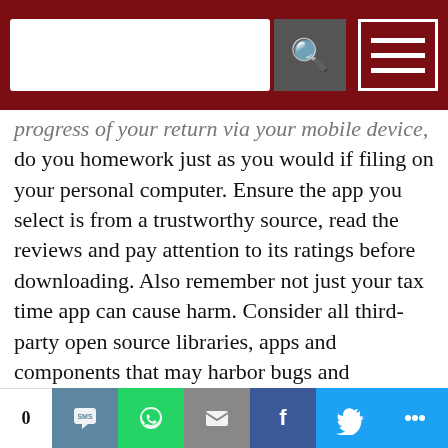[Figure (screenshot): Dark red navigation bar with white search input box, gray search button with magnifying glass icon, and white-bordered hamburger menu button]
progress of your return via your mobile device, do you homework just as you would if filing on your personal computer. Ensure the app you select is from a trustworthy source, read the reviews and pay attention to its ratings before downloading. Also remember not just your tax time app can cause harm. Consider all third-party open source libraries, apps and components that may harbor bugs and malicious code on your smartphone to protect your personal information when you file and every day.
Use a trusted Wi-Fi or Ethernet connection -- While you could file your taxes on your smartphone or laptop from the neighborhood
[Figure (screenshot): Social media share bar at bottom with SMS (blue-gray), WhatsApp (green), Email (gray), Facebook (blue), Twitter (light blue) share buttons, with '0' share count label on the left]